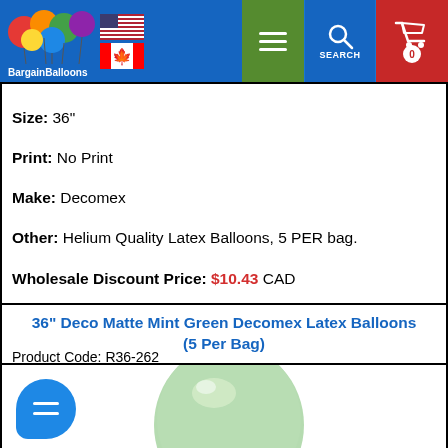BargainBalloons website header with logo, US and Canadian flags, menu, search, and cart
Size: 36"
Print: No Print
Make: Decomex
Other: Helium Quality Latex Balloons, 5 PER bag.
Wholesale Discount Price: $10.43 CAD
Product Code: R36-262
Restock Date Unknown
Email me When Back in Stock
36" Deco Matte Mint Green Decomex Latex Balloons (5 Per Bag)
[Figure (photo): Mint green latex balloon product image, large round balloon in light mint/pale green color]